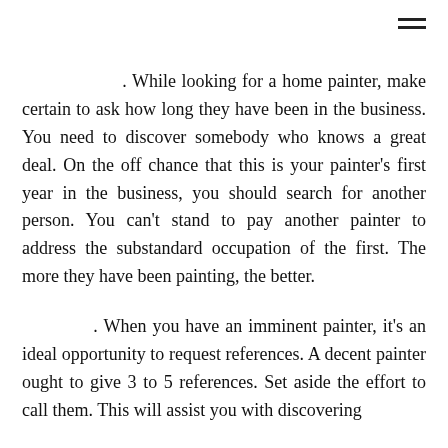. While looking for a home painter, make certain to ask how long they have been in the business. You need to discover somebody who knows a great deal. On the off chance that this is your painter's first year in the business, you should search for another person. You can't stand to pay another painter to address the substandard occupation of the first. The more they have been painting, the better.
. When you have an imminent painter, it's an ideal opportunity to request references. A decent painter ought to give 3 to 5 references. Set aside the effort to call them. This will assist you with discovering